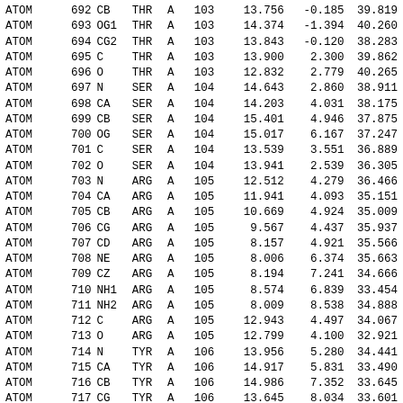| record | serial | name | res | chain | resseq | x | y | z |
| --- | --- | --- | --- | --- | --- | --- | --- | --- |
| ATOM | 692 | CB | THR | A | 103 | 13.756 | -0.185 | 39.819 |
| ATOM | 693 | OG1 | THR | A | 103 | 14.374 | -1.394 | 40.260 |
| ATOM | 694 | CG2 | THR | A | 103 | 13.843 | -0.120 | 38.283 |
| ATOM | 695 | C | THR | A | 103 | 13.900 | 2.300 | 39.862 |
| ATOM | 696 | O | THR | A | 103 | 12.832 | 2.779 | 40.265 |
| ATOM | 697 | N | SER | A | 104 | 14.643 | 2.860 | 38.911 |
| ATOM | 698 | CA | SER | A | 104 | 14.203 | 4.031 | 38.175 |
| ATOM | 699 | CB | SER | A | 104 | 15.401 | 4.946 | 37.875 |
| ATOM | 700 | OG | SER | A | 104 | 15.017 | 6.167 | 37.247 |
| ATOM | 701 | C | SER | A | 104 | 13.539 | 3.551 | 36.889 |
| ATOM | 702 | O | SER | A | 104 | 13.941 | 2.539 | 36.305 |
| ATOM | 703 | N | ARG | A | 105 | 12.512 | 4.279 | 36.466 |
| ATOM | 704 | CA | ARG | A | 105 | 11.941 | 4.093 | 35.151 |
| ATOM | 705 | CB | ARG | A | 105 | 10.669 | 4.924 | 35.009 |
| ATOM | 706 | CG | ARG | A | 105 | 9.567 | 4.437 | 35.937 |
| ATOM | 707 | CD | ARG | A | 105 | 8.157 | 4.921 | 35.566 |
| ATOM | 708 | NE | ARG | A | 105 | 8.006 | 6.374 | 35.663 |
| ATOM | 709 | CZ | ARG | A | 105 | 8.194 | 7.241 | 34.666 |
| ATOM | 710 | NH1 | ARG | A | 105 | 8.574 | 6.839 | 33.454 |
| ATOM | 711 | NH2 | ARG | A | 105 | 8.009 | 8.538 | 34.888 |
| ATOM | 712 | C | ARG | A | 105 | 12.943 | 4.497 | 34.067 |
| ATOM | 713 | O | ARG | A | 105 | 12.799 | 4.100 | 32.921 |
| ATOM | 714 | N | TYR | A | 106 | 13.956 | 5.280 | 34.441 |
| ATOM | 715 | CA | TYR | A | 106 | 14.917 | 5.831 | 33.490 |
| ATOM | 716 | CB | TYR | A | 106 | 14.986 | 7.352 | 33.645 |
| ATOM | 717 | CG | TYR | A | 106 | 13.645 | 8.034 | 33.601 |
| ATOM | 718 | CD1 | TYR | A | 106 | 12.996 | 8.233 | 32.395 |
| ATOM | 719 | CE1 | TYR | A | 106 | 11.760 | 8.843 | 32.339 |
| ATOM | 720 | CZ | TYR | A | 106 | 11.154 | 9.267 | 33.500 |
| ATOM | 721 | OH | TYR | A | 106 | 9.927 | 9.870 | 33.419 |